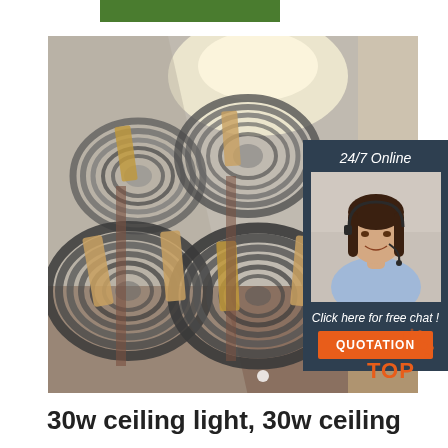[Figure (photo): Green navigation bar at top of page]
[Figure (photo): Large photo of stacked coils of steel wire rod tied with brown tape in a warehouse]
[Figure (photo): Sidebar with 24/7 Online label, customer service agent photo with headset, Click here for free chat text, and orange QUOTATION button]
[Figure (logo): TOP logo with orange dot pattern in lower right of photo]
30w ceiling light, 30w ceiling